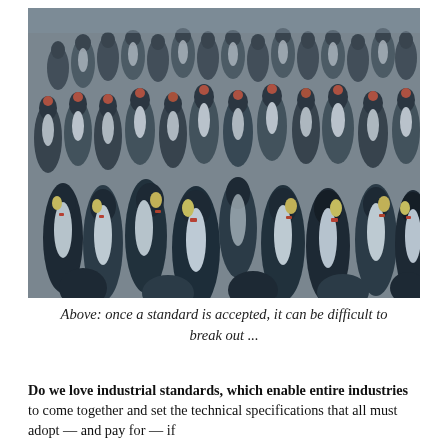[Figure (photo): A dense crowd of emperor penguins packed tightly together, photographed from slightly above, filling the entire frame. The penguins have black backs and white/yellow fronts, with orange-red markings near their beaks.]
Above: once a standard is accepted, it can be difficult to break out ...
Do we love industrial standards, which enable entire industries to come together and set the technical specifications that all must adopt — and pay for — if